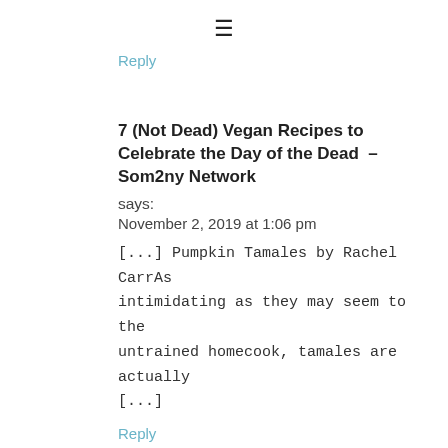[Figure (other): Hamburger menu icon (three horizontal lines)]
Reply
7 (Not Dead) Vegan Recipes to Celebrate the Day of the Dead  – Som2ny Network
says:
November 2, 2019 at 1:06 pm
[...] Pumpkin Tamales by Rachel CarrAs intimidating as they may seem to the untrained homecook, tamales are actually [...]
Reply